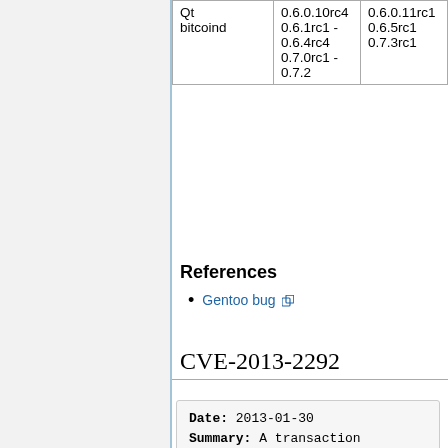|  | Qt
bitcoind | 0.6.0.10rc4
0.6.1rc1-0.6.4rc4
0.7.0rc1-0.7.2 | 0.6.0.11rc1
0.6.5rc1
0.7.3rc1 |
| --- | --- | --- | --- |
References
Gentoo bug
CVE-2013-2292
Date: 2013-01-30
Summary: A transaction that takes at least 3 minutes to verify
Fix Deployment: 0%
| Affected | Fix |
| --- | --- |
| Bitcoin-Qt
bitcoind | All versions | No fix yet |